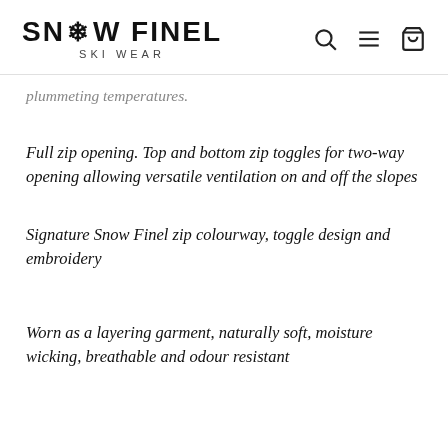SNOW FINEL SKI WEAR
plummeting temperatures.
Full zip opening. Top and bottom zip toggles for two-way opening allowing versatile ventilation on and off the slopes
Signature Snow Finel zip colourway, toggle design and embroidery
Worn as a layering garment, naturally soft, moisture wicking, breathable and odour resistant